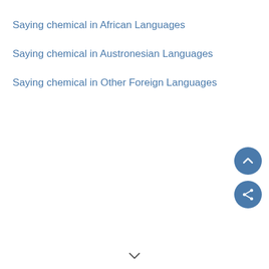Saying chemical in African Languages
Saying chemical in Austronesian Languages
Saying chemical in Other Foreign Languages
[Figure (infographic): Two circular buttons: an upward chevron (scroll-to-top) button and a share button, both in steel blue color, positioned at the right side of the page.]